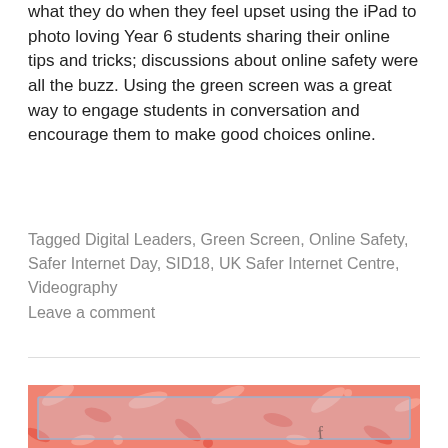what they do when they feel upset using the iPad to photo loving Year 6 students sharing their online tips and tricks; discussions about online safety were all the buzz. Using the green screen was a great way to engage students in conversation and encourage them to make good choices online.
Tagged Digital Leaders, Green Screen, Online Safety, Safer Internet Day, SID18, UK Safer Internet Centre, Videography
Leave a comment
[Figure (illustration): Partial view of a decorative coral/salmon colored background with floral/leaf pattern, with a light blue-bordered white inner rectangle visible at the bottom of the page.]